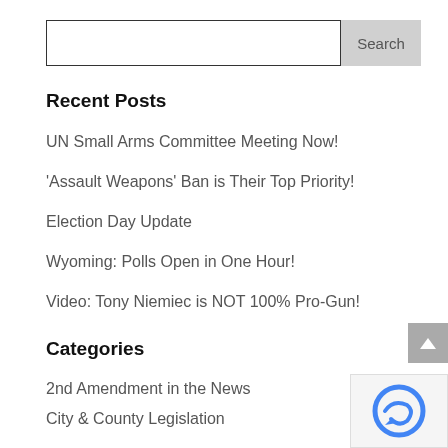[Figure (other): Search input field with Search button]
Recent Posts
UN Small Arms Committee Meeting Now!
'Assault Weapons' Ban is Their Top Priority!
Election Day Update
Wyoming: Polls Open in One Hour!
Video: Tony Niemiec is NOT 100% Pro-Gun!
Categories
2nd Amendment in the News
City & County Legislation
Federal Legislation
Latest News